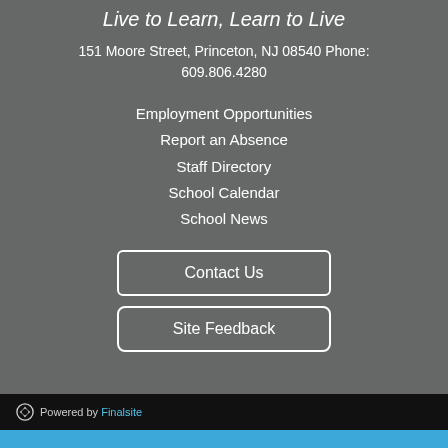Live to Learn, Learn to Live
151 Moore Street, Princeton, NJ 08540 Phone: 609.806.4280
Employment Opportunities
Report an Absence
Staff Directory
School Calendar
School News
Contact Us
Site Feedback
Powered by Finalsite